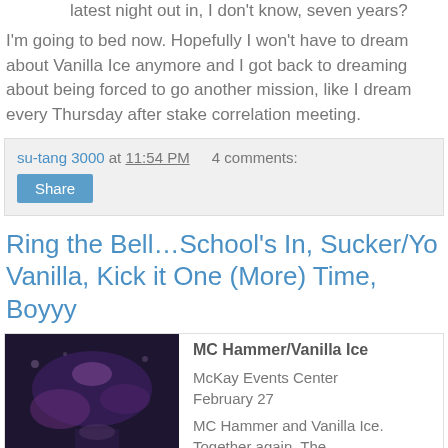latest night out in, I don't know, seven years?
I'm going to bed now. Hopefully I won't have to dream about Vanilla Ice anymore and I got back to dreaming about being forced to go another mission, like I dream every Thursday after stake correlation meeting.
su-tang 3000 at 11:54 PM   4 comments:
Share
Ring the Bell…School's In, Sucker/Yo Vanilla, Kick it One (More) Time, Boyyy
MC Hammer/Vanilla Ice
McKay Events Center
February 27
MC Hammer and Vanilla Ice. Together again. The
[Figure (photo): A dark concert photo showing a performer on stage with purple/blue lighting]